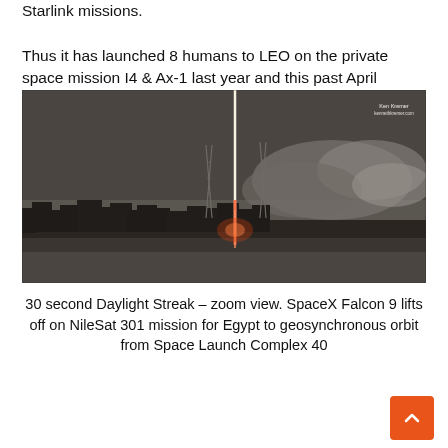Starlink missions.

Thus it has launched 8 humans to LEO on the private space mission I4 & Ax-1 last year and this past April
[Figure (photo): A rocket launching at dusk or dawn, visible as a bright vertical streak of light and flame cutting through a grey, cloudy sky. Trees and communication towers silhouette the horizon. Water or a flat plain is visible in the foreground. Photographer credit: Ken Kremer kennethkremer.com]
30 second Daylight Streak – zoom view. SpaceX Falcon 9 lifts off on NileSat 301 mission for Egypt to geosynchronous orbit from Space Launch Complex 40